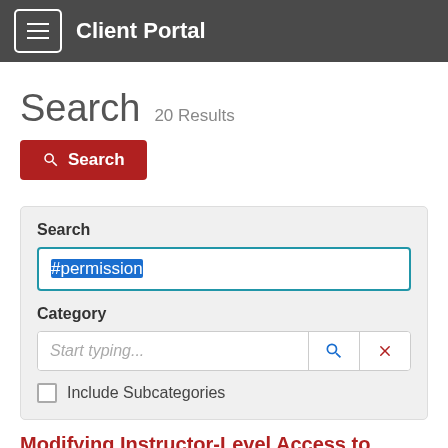Client Portal
Search  20 Results
Search (button)
Search
#permission
Category
Start typing...
Include Subcategories
Modifying Instructor-Level Access to Blackboard C...